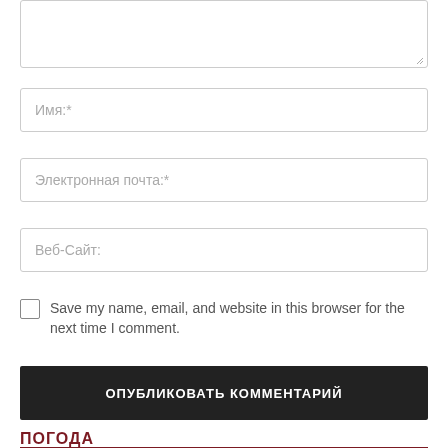[Figure (screenshot): Textarea input box with resize handle in bottom right corner]
Имя:*
Электронная почта:*
Веб-Сайт:
Save my name, email, and website in this browser for the next time I comment.
ОПУБЛИКОВАТЬ КОММЕНТАРИЙ
ПОГОДА